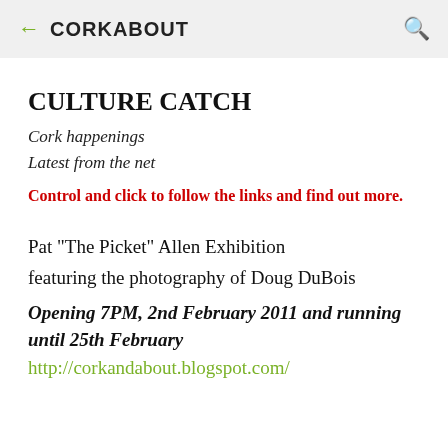← CORKABOUT
CULTURE CATCH
Cork happenings
Latest from the net
Control and click to follow the links and find out more.
Pat "The Picket" Allen Exhibition
featuring the photography of Doug DuBois
Opening 7PM, 2nd February 2011 and running until 25th February http://corkandabout.blogspot.com/